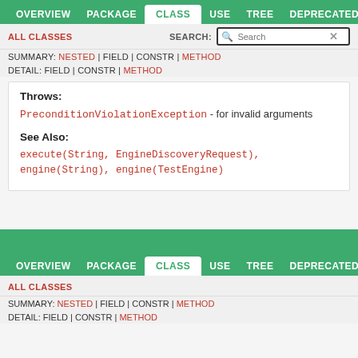OVERVIEW  PACKAGE  CLASS  USE  TREE  DEPRECATED
ALL CLASSES   SEARCH:  [Search]
SUMMARY: NESTED | FIELD | CONSTR | METHOD
DETAIL: FIELD | CONSTR | METHOD
Throws:
PreconditionViolationException - for invalid arguments
See Also:
execute(String, EngineDiscoveryRequest),
engine(String), engine(TestEngine)
OVERVIEW  PACKAGE  CLASS  USE  TREE  DEPRECATED
ALL CLASSES
SUMMARY: NESTED | FIELD | CONSTR | METHOD
DETAIL: FIELD | CONSTR | METHOD